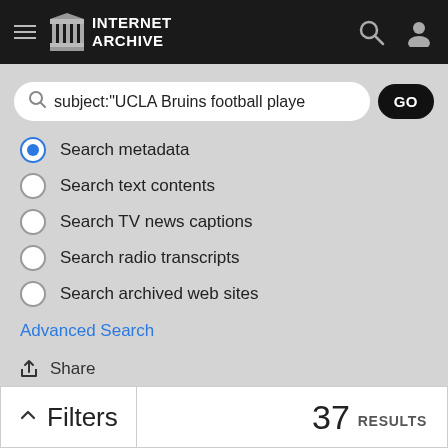INTERNET ARCHIVE
subject:"UCLA Bruins football playe
Search metadata (selected)
Search text contents
Search TV news captions
Search radio transcripts
Search archived web sites
Advanced Search
Share
Favorite
Filters   37 RESULTS